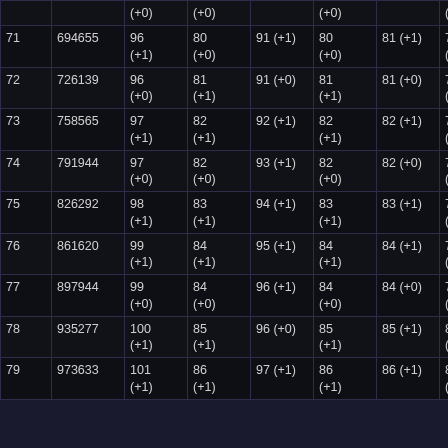|  |  | (+0) | (+0) |  | (+0) |  | (+0) |
| --- | --- | --- | --- | --- | --- | --- | --- |
| 71 | 694655 | 96
(+1) | 80
(+0) | 91 (+1) | 80
(+0) | 81 (+1) | 75
(+0) |
| 72 | 726139 | 96
(+0) | 81
(+1) | 91 (+0) | 81
(+1) | 81 (+0) | 76
(+1) |
| 73 | 758565 | 97
(+1) | 82
(+1) | 92 (+1) | 82
(+1) | 82 (+1) | 77
(+1) |
| 74 | 791944 | 97
(+0) | 82
(+0) | 93 (+1) | 82
(+0) | 82 (+0) | 77
(+0) |
| 75 | 826292 | 98
(+1) | 83
(+1) | 94 (+1) | 83
(+1) | 83 (+1) | 78
(+1) |
| 76 | 861620 | 99
(+1) | 84
(+1) | 95 (+1) | 84
(+1) | 84 (+1) | 79
(+1) |
| 77 | 897944 | 99
(+0) | 84
(+0) | 96 (+1) | 84
(+0) | 84 (+0) | 79
(+0) |
| 78 | 935277 | 100
(+1) | 85
(+1) | 96 (+0) | 85
(+1) | 85 (+1) | 80
(+1) |
| 79 | 973633 | 101
(+1) | 86
(+1) | 97 (+1) | 86
(+1) | 86 (+1) | 81
(+1) |